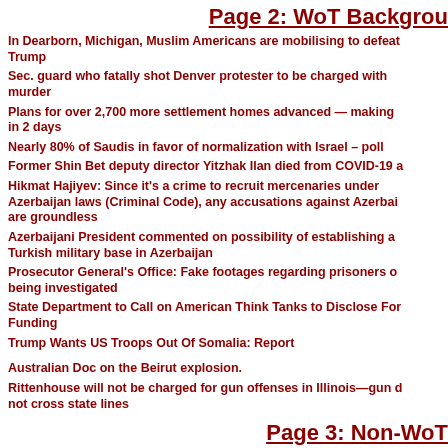Page 2: WoT Backgrou
In Dearborn, Michigan, Muslim Americans are mobilising to defeat Trump
Sec. guard who fatally shot Denver protester to be charged with murder
Plans for over 2,700 more settlement homes advanced — making in 2 days
Nearly 80% of Saudis in favor of normalization with Israel – poll
Former Shin Bet deputy director Yitzhak Ilan died from COVID-19 a
Hikmat Hajiyev: Since it's a crime to recruit mercenaries under Azerbaijan laws (Criminal Code), any accusations against Azerbai are groundless
Azerbaijani President commented on possibility of establishing a Turkish military base in Azerbaijan
Prosecutor General's Office: Fake footages regarding prisoners o being investigated
State Department to Call on American Think Tanks to Disclose For Funding
Trump Wants US Troops Out Of Somalia: Report
Australian Doc on the Beirut explosion.
Rittenhouse will not be charged for gun offenses in Illinois—gun d not cross state lines
Page 3: Non-WoT
Greta Reprimands Amy Coney Barrett